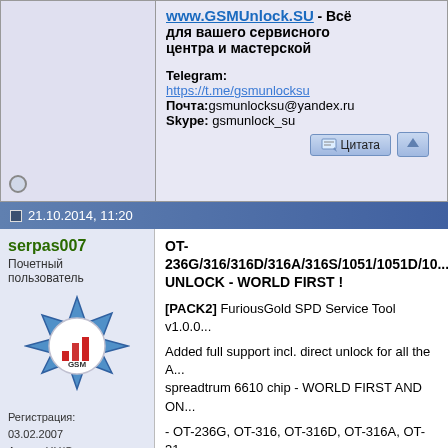www.GSMUnlock.SU - Всё для вашего сервисного центра и мастерской
Telegram: https://t.me/gsmunlocksu
Почта: gsmunlocksu@yandex.ru
Skype: gsmunlock_su
21.10.2014, 11:20
serpas007
Почетный пользователь
Регистрация: 03.02.2007
Адрес: HH/Germany
Сообщений: 1,166
Поблагодарил: 336
Поблагодарили 1,013 раз за 469 сообщений
OT-236G/316/316D/316A/316S/1051/1051D/10... UNLOCK - WORLD FIRST !

[PACK2] FuriousGold SPD Service Tool v1.0.0...

Added full support incl. direct unlock for all the A... spreadtrum 6610 chip - WORLD FIRST AND ON...

- OT-236G, OT-316, OT-316D, OT-316A, OT-31... 1051D, OT-1015, OT-1015D

Supported opperations:

- IMEI REPAIR
- WRITE / READ FULL FLASH
- WRITE / READ NV
- FORMAT